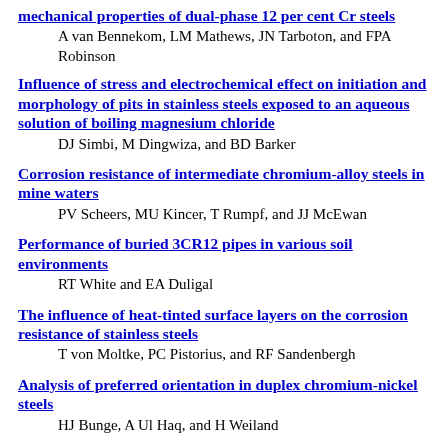mechanical properties of dual-phase 12 per cent Cr steels
A van Bennekom, LM Mathews, JN Tarboton, and FPA Robinson
Influence of stress and electrochemical effect on initiation and morphology of pits in stainless steels exposed to an aqueous solution of boiling magnesium chloride
DJ Simbi, M Dingwiza, and BD Barker
Corrosion resistance of intermediate chromium-alloy steels in mine waters
PV Scheers, MU Kincer, T Rumpf, and JJ McEwan
Performance of buried 3CR12 pipes in various soil environments
RT White and EA Duligal
The influence of heat-tinted surface layers on the corrosion resistance of stainless steels
T von Moltke, PC Pistorius, and RF Sandenbergh
Analysis of preferred orientation in duplex chromium-nickel steels
HJ Bunge, A Ul Haq, and H Weiland
From niche to commodity, 3CR12- a ten year scenario